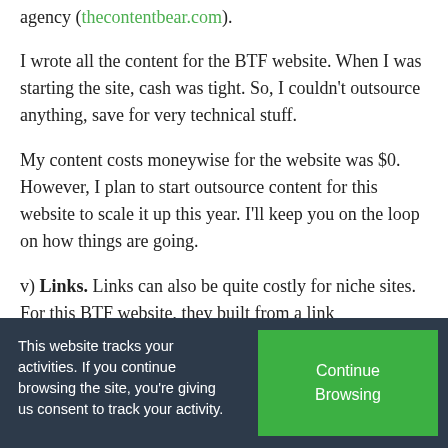agency (thecontentbear.com).
I wrote all the content for the BTF website. When I was starting the site, cash was tight. So, I couldn't outsource anything, save for very technical stuff.
My content costs moneywise for the website was $0. However, I plan to start outsource content for this website to scale it up this year. I'll keep you on the loop on how things are going.
v) Links. Links can also be quite costly for niche sites. For this BTF website, they built from a link...
This website tracks your activities. If you continue browsing the site, you're giving us consent to track your activity.
Continue Browsing